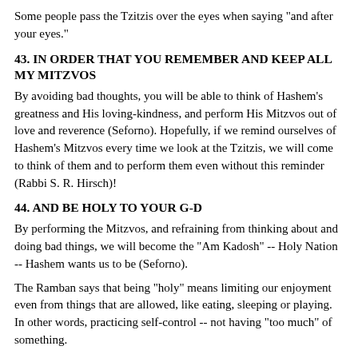Some people pass the Tzitzis over the eyes when saying "and after your eyes."
43. IN ORDER THAT YOU REMEMBER AND KEEP ALL MY MITZVOS
By avoiding bad thoughts, you will be able to think of Hashem's greatness and His loving-kindness, and perform His Mitzvos out of love and reverence (Seforno). Hopefully, if we remind ourselves of Hashem's Mitzvos every time we look at the Tzitzis, we will come to think of them and to perform them even without this reminder (Rabbi S. R. Hirsch)!
44. AND BE HOLY TO YOUR G-D
By performing the Mitzvos, and refraining from thinking about and doing bad things, we will become the "Am Kadosh" -- Holy Nation -- Hashem wants us to be (Seforno).
The Ramban says that being "holy" means limiting our enjoyment even from things that are allowed, like eating, sleeping or playing. In other words, practicing self-control -- not having "too much" of something.
45. I AM HASHEM YOUR G-D [ELO-HIM]
The Name "Hashem" implies that He rewards those who follow His